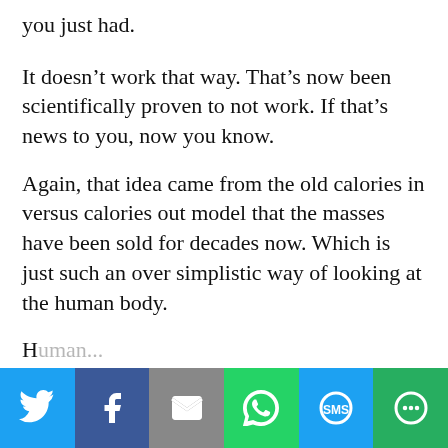you just had.
It doesn’t work that way. That’s now been scientifically proven to not work. If that’s news to you, now you know.
Again, that idea came from the old calories in versus calories out model that the masses have been sold for decades now. Which is just such an over simplistic way of looking at the human body.
H…
[Figure (infographic): Social sharing bar with Twitter, Facebook, Email, WhatsApp, SMS, and More buttons]